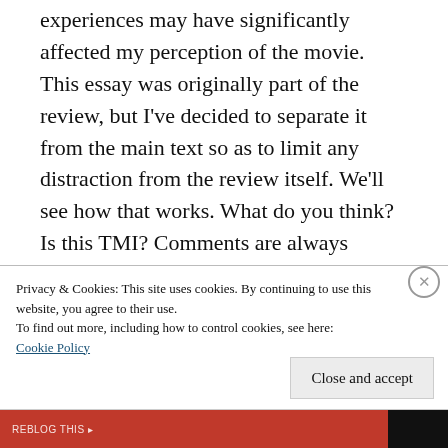experiences may have significantly affected my perception of the movie. This essay was originally part of the review, but I've decided to separate it from the main text so as to limit any distraction from the review itself. We'll see how that works. What do you think? Is this TMI? Comments are always appreciated.
Liberal Guilt, 'A Private War', and the Cowardly Pool Man
Privacy & Cookies: This site uses cookies. By continuing to use this website, you agree to their use. To find out more, including how to control cookies, see here: Cookie Policy
Close and accept